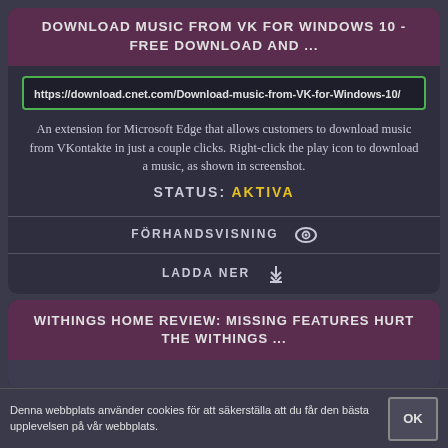DOWNLOAD MUSIC FROM VK FOR WINDOWS 10 - FREE DOWNLOAD AND ...
https://download.cnet.com/Download-music-from-VK-for-Windows-10/
An extension for Microsoft Edge that allows customers to download music from VKontakte in just a couple clicks. Right-click the play icon to download a music, as shown in screenshot.
STATUS: AKTIVA
FÖRHANDSVISNING
LADDA NER
WITHINGS HOME REVIEW: MISSING FEATURES HURT THE WITHINGS ...
Denna webbplats använder cookies för att säkerställa att du får den bästa upplevelsen på vår webbplats.